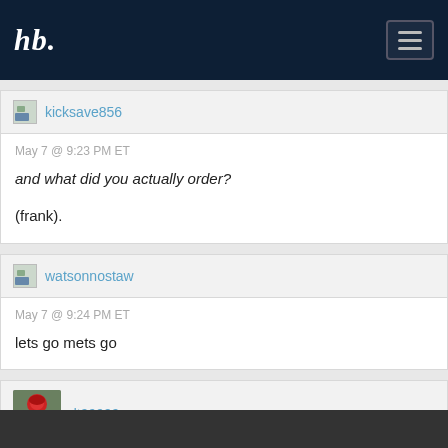hb. [navigation bar with hamburger menu]
kicksave856
May 7 @ 9:23 PM ET
and what did you actually order?

(frank).
watsonnostaw
May 7 @ 9:24 PM ET
lets go mets go
dt99999